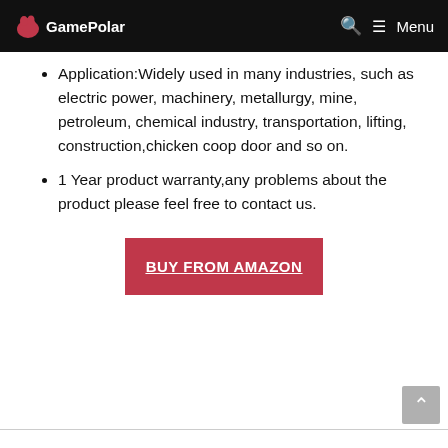GamePolar | Menu
Application:Widely used in many industries, such as electric power, machinery, metallurgy, mine, petroleum, chemical industry, transportation, lifting, construction,chicken coop door and so on.
1 Year product warranty,any problems about the product please feel free to contact us.
BUY FROM AMAZON